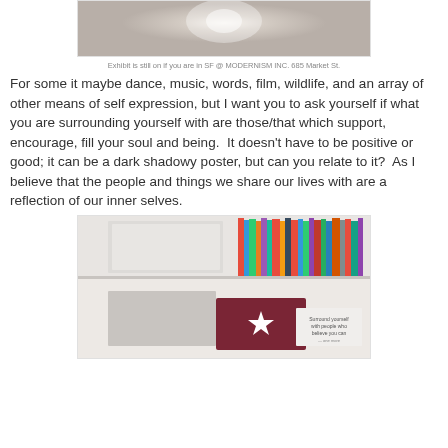[Figure (photo): Top partial photo showing a beige/brown gradient background with a light glare spot]
Exhibit is still on if you are in SF @ MODERNISM INC. 685 Market St.
For some it maybe dance, music, words, film, wildlife, and an array of other means of self expression, but I want you to ask yourself if what you are surrounding yourself with are those/that which support, encourage, fill your soul and being.  It doesn't have to be positive or good; it can be a dark shadowy poster, but can you relate to it?  As I believe that the people and things we share our lives with are a reflection of our inner selves.
[Figure (photo): Bottom photo showing a bookshelf with books and a decorative star card reading 'Surround yourself with people who believe you can']